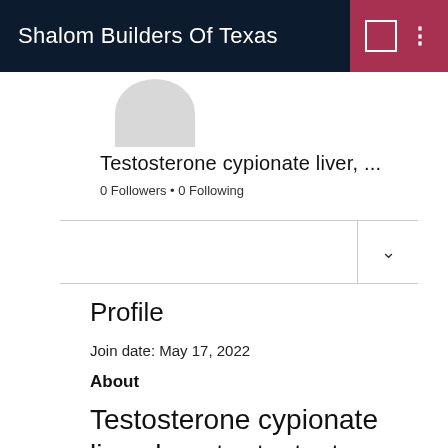Shalom Builders Of Texas
Testosterone cypionate liver, ...
0 Followers • 0 Following
Profile
Join date: May 17, 2022
About
Testosterone cypionate liver, booster testosterone